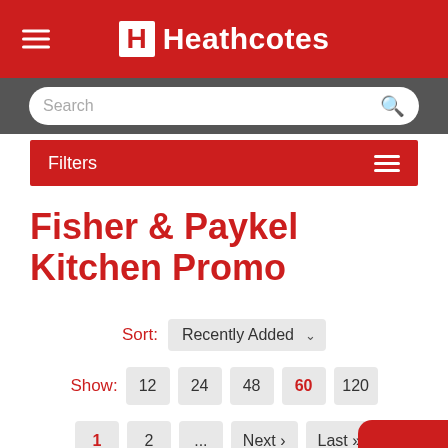[Figure (screenshot): Heathcotes website header with red background, hamburger menu icon on left, and H Heathcotes logo centered in white text]
[Figure (screenshot): Search bar on dark grey background with rounded white input field and search icon]
[Figure (screenshot): Red Filters bar with hamburger menu icon on right]
Fisher & Paykel Kitchen Promo
Sort: Recently Added
Show: 12  24  48  60  120
1  2  ...  Next ›  Last »